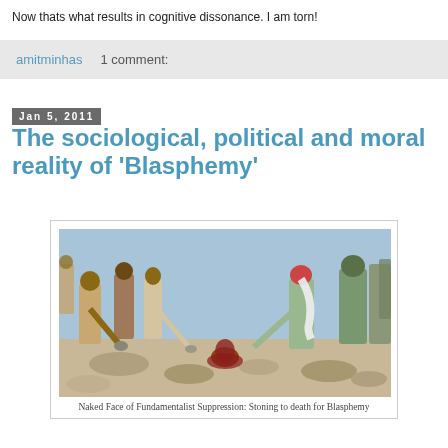Now thats what results in cognitive dissonance. I am torn!
amitminhas   1 comment:
Jan 5, 2011
The sociological, political and moral reality of 'Blasphemy'
[Figure (photo): A crowd of people engaged in stoning, with a person buried in the ground being stoned. The image depicts fundamentalist suppression.]
Naked Face of Fundamentalist Suppression: Stoning to death for Blasphemy